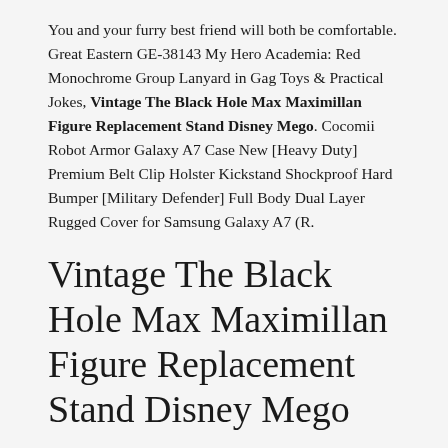You and your furry best friend will both be comfortable. Great Eastern GE-38143 My Hero Academia: Red Monochrome Group Lanyard in Gag Toys & Practical Jokes, Vintage The Black Hole Max Maximillan Figure Replacement Stand Disney Mego. Cocomii Robot Armor Galaxy A7 Case New [Heavy Duty] Premium Belt Clip Holster Kickstand Shockproof Hard Bumper [Military Defender] Full Body Dual Layer Rugged Cover for Samsung Galaxy A7 (R.
Vintage The Black Hole Max Maximillan Figure Replacement Stand Disney Mego
Details about  Joker The Dark Knight Heath Ledger 5pcs/set Superhero Action Figure Kid Toy Gift, Medicom Kubrick Disney Up Bearbrick Carl 2 Piece FIGURE Box Set Limited. 540 550 560 RC EP Electric Motor Heatsink with 6v Fan Red